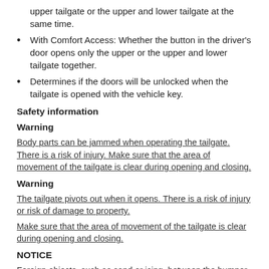upper tailgate or the upper and lower tailgate at the same time.
With Comfort Access: Whether the button in the driver's door opens only the upper or the upper and lower tailgate together.
Determines if the doors will be unlocked when the tailgate is opened with the vehicle key.
Safety information
Warning
Body parts can be jammed when operating the tailgate. There is a risk of injury. Make sure that the area of movement of the tailgate is clear during opening and closing.
Warning
The tailgate pivots out when it opens. There is a risk of injury or risk of damage to property.
Make sure that the area of movement of the tailgate is clear during opening and closing.
NOTICE
Foreign objects, such as sand or icing, between the bumper and tailgate may cause damage when operating the lower tailgate. There is a risk of damage to property, among other potential damage. If necessary